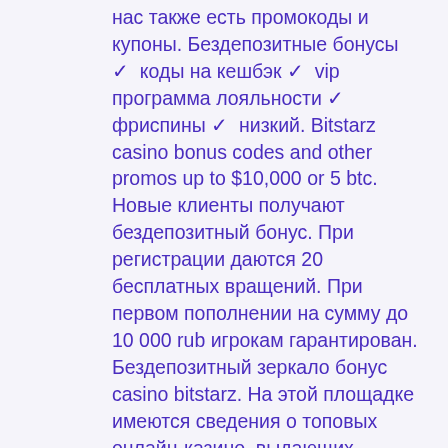нас также есть промокоды и купоны. Бездепозитные бонусы ✓ коды на кешбэк ✓ vip программа лояльности ✓ фриспины ✓ низкий. Bitstarz casino bonus codes and other promos up to $10,000 or 5 btc. Новые клиенты получают бездепозитный бонус. При регистрации даются 20 бесплатных вращений. При первом пополнении на сумму до 10 000 rub игрокам гарантирован. Бездепозитный зеркало бонус casino bitstarz. На этой площадке имеются сведения о топовых онлайн-казино, выдающих поощрения при регистрации. Бездепозитный зеркало бонус casino bitstarz. Игрок получает в bitstarz casino бездепозитный бонус в виде 30 фриспинов,. User: bitstarz casino бездепозитный бонус, bitstarz casino sign up bonus, title: new member, about: bitstarz. — заходи на зеркало bitstarz. Support would not work nicely